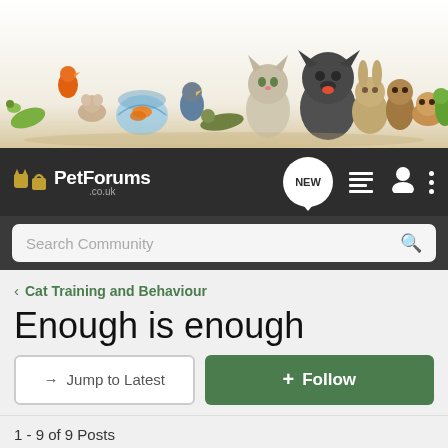[Figure (photo): Website banner with various pets including a dog, cat, rabbit, guinea pig, iguana, bird, fish in a bowl, snake, and other animals arranged against a white/light background. Orange accent tab in top-left corner.]
[Figure (screenshot): PetForums.co.uk navigation bar with logo, NEW button, list view icon, user icon, and menu dots. Search bar below with 'Search Community' placeholder and magnifier icon.]
Cat Training and Behaviour
Enough is enough
→ Jump to Latest
+ Follow
1 - 9 of 9 Posts
Tink82 · Registered
Joined Mar 22, 2009 · 3,781 Posts